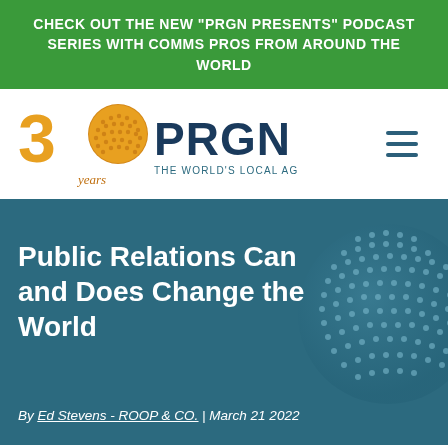CHECK OUT THE NEW "PRGN PRESENTS" PODCAST SERIES WITH COMMS PROS FROM AROUND THE WORLD
[Figure (logo): PRGN 30 years logo with text 'THE WORLD'S LOCAL AGENCY']
Public Relations Can and Does Change the World
By Ed Stevens - ROOP & CO. | March 21 2022